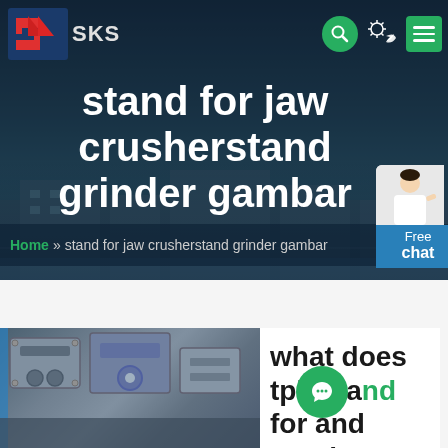SKS
stand for jaw crusherstand grinder gambar
Home » stand for jaw crusherstand grinder gambar
[Figure (photo): Industrial jaw crusher machine parts, close-up view showing metal frame and mechanical components]
what does tph stand for and crusher